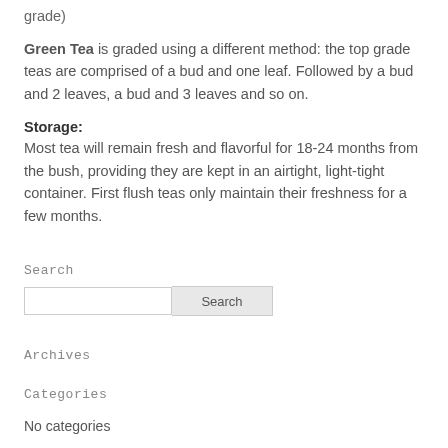grade)
Green Tea is graded using a different method: the top grade teas are comprised of a bud and one leaf. Followed by a bud and 2 leaves, a bud and 3 leaves and so on.
Storage:
Most tea will remain fresh and flavorful for 18-24 months from the bush, providing they are kept in an airtight, light-tight container. First flush teas only maintain their freshness for a few months.
Search
[Figure (other): Search input field with Search button]
Archives
Categories
No categories